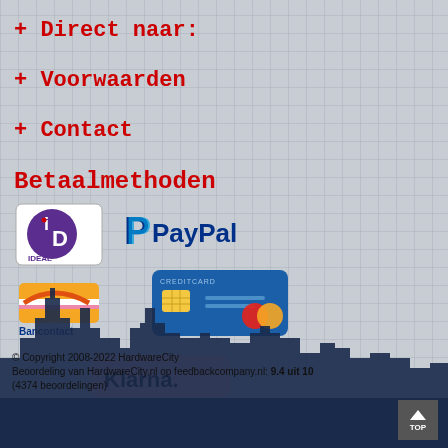+ Direct naar:
+ Voorwaarden
+ Contact
Betaalmethoden
[Figure (logo): iDEAL payment logo - circular with i and D letters in purple/dark colors]
[Figure (logo): PayPal logo - blue P with PayPal text in blue]
[Figure (logo): Bancontact logo - yellow curved card shape with Bancontact text]
[Figure (logo): Credit card logo - blue card with gold chip and Mastercard circles]
[Figure (logo): Klarna logo - pink rounded rectangle with Klarna. text and Betaal later below]
© Copyright 2008-2022 HardwareCity Beoordeling van HardwareCity.nl op feedbackcompany.nl: 9.4 uit 10 (4374 beoordelingen)